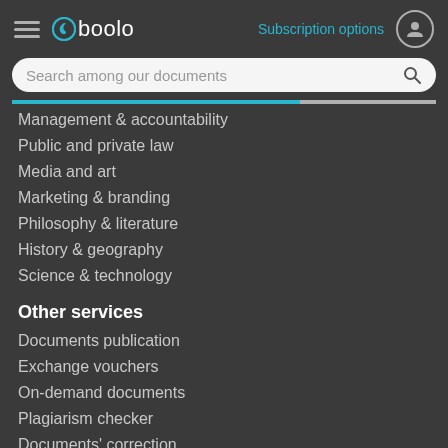Gboolo — Subscription options
Search among our documents
Management & accountability
Public and private law
Media and art
Marketing & branding
Philosophy & literature
History & geography
Science & technology
Other services
Documents publication
Exchange vouchers
On-demand documents
Plagiarism checker
Documents' correction
Become a tutor-writer